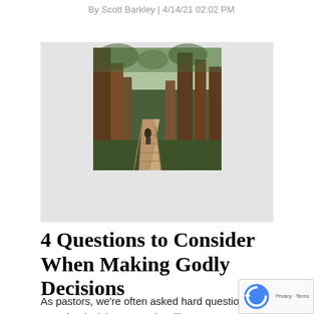By Scott Barkley | 4/14/21 02:02 PM
[Figure (photo): A person walking on a wooden boardwalk path through a tall redwood forest]
4 Questions to Consider When Making Godly Decisions
As pastors, we're often asked hard questions about how to make decisions. People will come to us and ask, "Can I be a good Christian